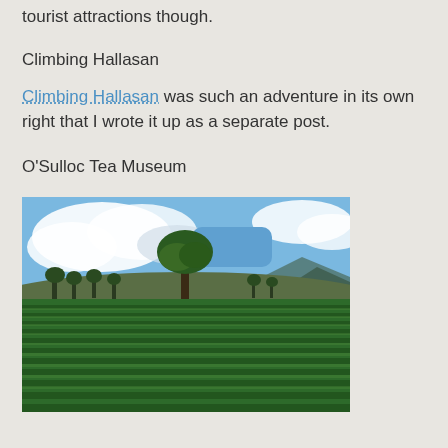tourist attractions though.
Climbing Hallasan
Climbing Hallasan was such an adventure in its own right that I wrote it up as a separate post.
O'Sulloc Tea Museum
[Figure (photo): Scenic photograph of green tea fields (O'Sulloc Tea Museum area) with rows of lush green tea plants in the foreground, a single large tree in the middle distance, mountains in the background, and a blue sky with clouds above.]